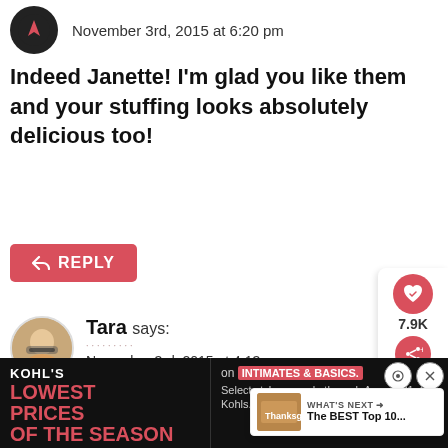November 3rd, 2015 at 6:20 pm
Indeed Janette! I'm glad you like them and your stuffing looks absolutely delicious too!
REPLY
Tara says:
November 3rd, 2015 at 4:13 pm
Mmmm, they all look so good, thanks for including our little potatoes!!
[Figure (infographic): Kohl's advertisement banner: LOWEST PRICES OF THE SEASON on INTIMATES & BASICS. Select styles on sale through August 21. See Kohls.com for details. Shop Now]